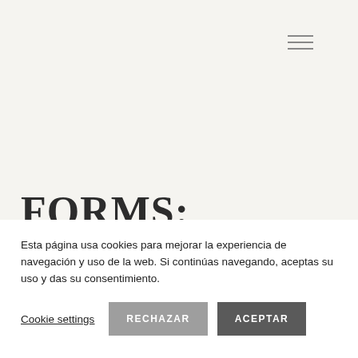≡ (hamburger menu icon)
FORMS: CONTACTO
Esta página usa cookies para mejorar la experiencia de navegación y uso de la web. Si continúas navegando, aceptas su uso y das su consentimiento.
Cookie settings | RECHAZAR | ACEPTAR